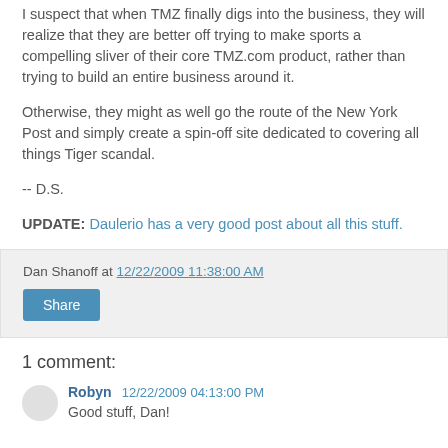I suspect that when TMZ finally digs into the business, they will realize that they are better off trying to make sports a compelling sliver of their core TMZ.com product, rather than trying to build an entire business around it.
Otherwise, they might as well go the route of the New York Post and simply create a spin-off site dedicated to covering all things Tiger scandal.
-- D.S.
UPDATE: Daulerio has a very good post about all this stuff.
Dan Shanoff at 12/22/2009 11:38:00 AM
Share
1 comment:
Robyn 12/22/2009 04:13:00 PM
Good stuff, Dan!